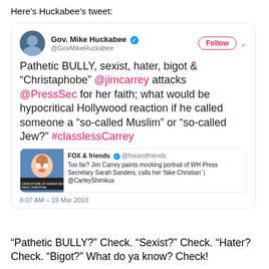Here’s Huckabee’s tweet:
[Figure (screenshot): Embedded screenshot of a tweet by Gov. Mike Huckabee (@GovMikeHuckabee) reading: Pathetic BULLY, sexist, hater, bigot & "Christaphobe" @jimcarrey attacks @PressSec for her faith; what would be hypocritical Hollywood reaction if he called someone a "so-called Muslim" or "so-called Jew?" #classlessCarrey. Includes a quoted Fox & friends tweet about Jim Carrey painting a mocking portrait of WH Press Secretary Sarah Sanders. Timestamp: 8:07 AM - 19 Mar 2018.]
“Pathetic BULLY?” Check. “Sexist?” Check. “Hater? Check. “Bigot?” What do ya know? Check!